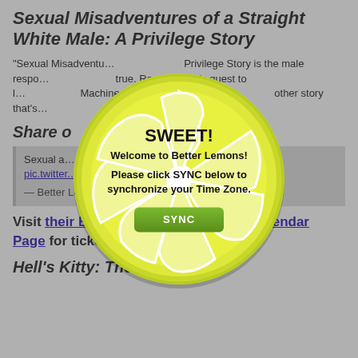Sexual Misadventures of a Straight White Male: A Privilege Story
"Sexual Misadventu... Privilege Story is the male respo... true. Ross is on this quest to l... Machine to learn to be a... other story that's...
Share o...
Sexual a... vilege Story htt... pic.twitter....
— Better Lemo... /2019
Visit their Better Lemons Registered Calendar Page for ticket and show information.
Hell's Kitty: The Musical
[Figure (other): Modal dialog with lemon slice graphic. Shows 'SWEET!' heading, 'Welcome to Better Lemons!' subtitle, 'Please click SYNC below to synchronize your Time Zone.' instruction text, and a green SYNC button. The dialog is overlaid on a lemon slice illustration with yellow-green color and white segment lines.]